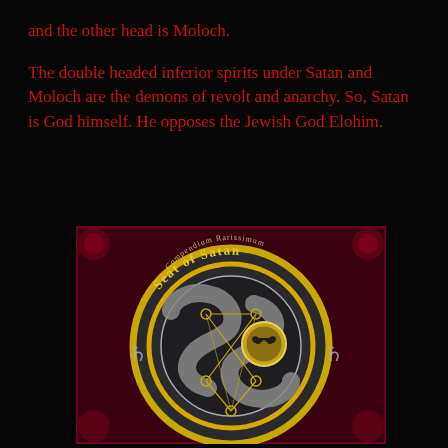and the other head is Moloch.
The double headed inferior spirits under Satan and Moloch are the demons of revolt and anarchy. So, Satan is God himself. He opposes the Jewish God Elohim.
[Figure (illustration): Circular seal labeled 'Seat of Satan' and 'Compendium Rarissimum' — a dark grey metallic disc with a large stylized 'S' shape, overlaid with geometric line-and-node diagrams, gold concentric rings, alchemical symbols at the sides, and a small central medallion. Set against a dark red ornate background.]